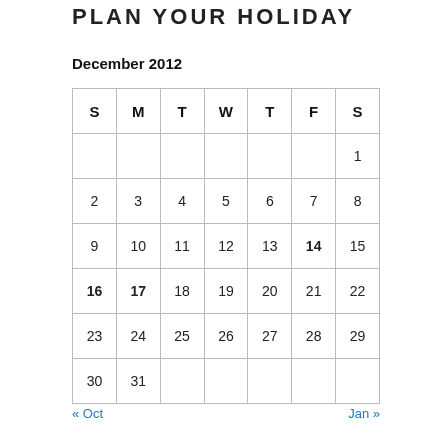PLAN YOUR HOLIDAY
December 2012
| S | M | T | W | T | F | S |
| --- | --- | --- | --- | --- | --- | --- |
|  |  |  |  |  |  | 1 |
| 2 | 3 | 4 | 5 | 6 | 7 | 8 |
| 9 | 10 | 11 | 12 | 13 | 14 | 15 |
| 16 | 17 | 18 | 19 | 20 | 21 | 22 |
| 23 | 24 | 25 | 26 | 27 | 28 | 29 |
| 30 | 31 |  |  |  |  |  |
« Oct    Jan »